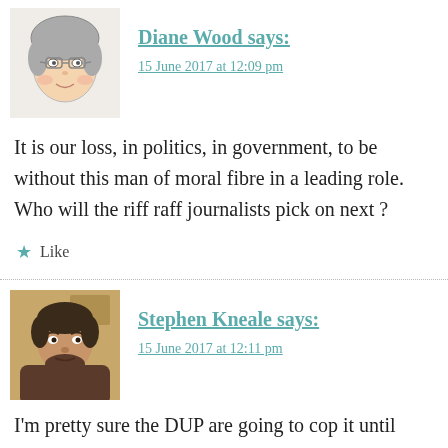[Figure (illustration): Cartoon avatar illustration of Diane Wood, a woman with glasses and curly hair]
Diane Wood says:
15 June 2017 at 12:09 pm
It is our loss, in politics, in government, to be without this man of moral fibre in a leading role. Who will the riff raff journalists pick on next ?
Like
[Figure (photo): Photo of Stephen Kneale, a man with dark hair and beard]
Stephen Kneale says:
15 June 2017 at 12:11 pm
I'm pretty sure the DUP are going to cop it until their agreement falls apart and/or